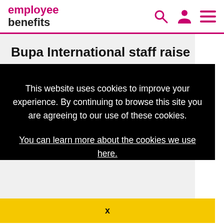employee benefits
Bupa International staff raise money for Haiti earthquake appeal
This website uses cookies to improve your experience. By continuing to browse this site you are agreeing to our use of these cookies.
You can learn more about the cookies we use here.
x